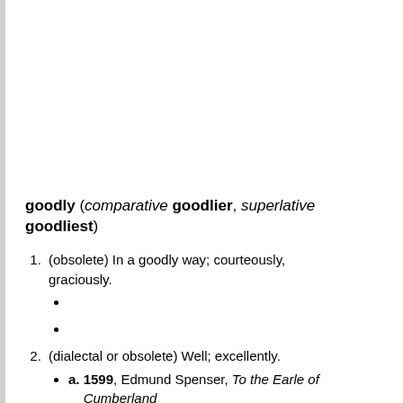goodly (comparative goodlier, superlative goodliest)
1. (obsolete) In a goodly way; courteously, graciously.
(bullet empty)
(bullet empty)
2. (dialectal or obsolete) Well; excellently.
a. 1599, Edmund Spenser, To the Earle of Cumberland